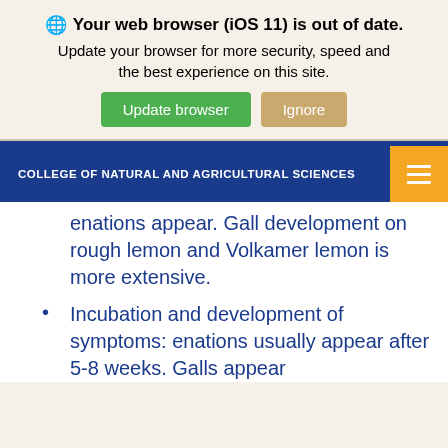Your web browser (iOS 11) is out of date. Update your browser for more security, speed and the best experience on this site.
COLLEGE OF NATURAL AND AGRICULTURAL SCIENCES
enations appear. Gall development on rough lemon and Volkamer lemon is more extensive.
Incubation and development of symptoms: enations usually appear after 5-8 weeks. Galls appear